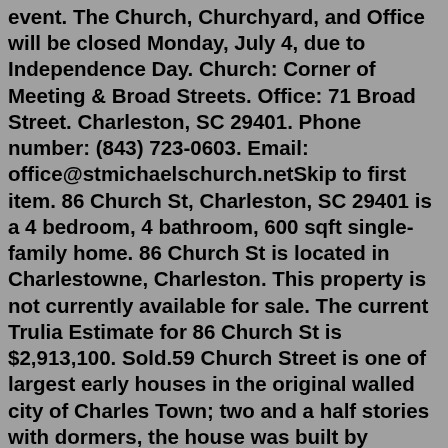event. The Church, Churchyard, and Office will be closed Monday, July 4, due to Independence Day. Church: Corner of Meeting & Broad Streets. Office: 71 Broad Street. Charleston, SC 29401. Phone number: (843) 723-0603. Email: office@stmichaelschurch.netSkip to first item. 86 Church St, Charleston, SC 29401 is a 4 bedroom, 4 bathroom, 600 sqft single-family home. 86 Church St is located in Charlestowne, Charleston. This property is not currently available for sale. The current Trulia Estimate for 86 Church St is $2,913,100. Sold.59 Church Street is one of largest early houses in the original walled city of Charles Town; two and a half stories with dormers, the house was built by Lowcountry planter Thomas Rose around 1735. Rose's wife, Beauler Elliott, inherited the lot with a previous house on it from her father, Thomas Elliott.The Church Street Inn, Ascend ® Hotel Collection, offers townhouse-style accommodations in downtown Charleston. We're located at the corner of Church and Market Streets, making it easy to walk to